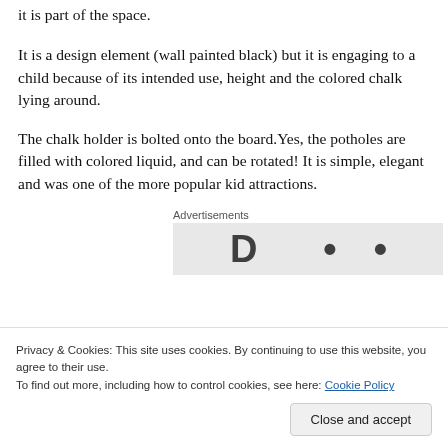It is part of the space.
It is a design element (wall painted black) but it is engaging to a child because of its intended use, height and the colored chalk lying around.
The chalk holder is bolted onto the board.Yes, the potholes are filled with colored liquid, and can be rotated! It is simple, elegant and was one of the more popular kid attractions.
Advertisements
[Figure (other): Partially visible advertisement banner with bold text, cropped at top and bottom by cookie consent overlay]
Privacy & Cookies: This site uses cookies. By continuing to use this website, you agree to their use.
To find out more, including how to control cookies, see here: Cookie Policy
Close and accept